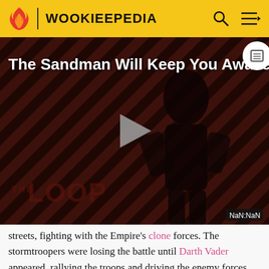WOOKIEEPEDIA
[Figure (screenshot): Wookieepedia video player showing 'The Sandman Will Keep You Awake.' with a dark figure in black outfit against diagonal stripe background, play button in center, THE LOOP watermark, and NaN:NaN timestamp badge]
streets, fighting with the Empire's clone forces. The stormtroopers were losing the battle until Darth Vader appeared, rallying the troops and driving the enemy forces back. In the madness, Tohm had escaped from the prototype starfighter by engaging its ejection seat and landing in the midst of the battle. Tohm joined the